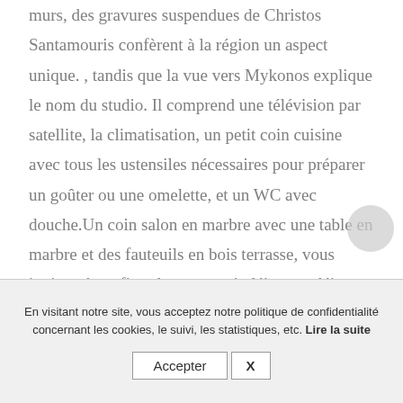murs, des gravures suspendues de Christos Santamouris confèrent à la région un aspect unique. , tandis que la vue vers Mykonos explique le nom du studio. Il comprend une télévision par satellite, la climatisation, un petit coin cuisine avec tous les ustensiles nécessaires pour préparer un goûter ou une omelette, et un WC avec douche.Un coin salon en marbre avec une table en marbre et des fauteuils en bois terrasse, vous invitant à profiter de votre petit déjeuner, déjeuner ou boisson.Nous pouvons
En visitant notre site, vous acceptez notre politique de confidentialité concernant les cookies, le suivi, les statistiques, etc. Lire la suite
Accepter X